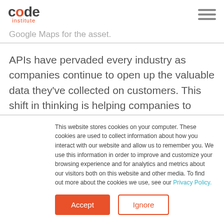code institute
Google Maps for the asset.
APIs have pervaded every industry as companies continue to open up the valuable data they’ve collected on customers. This shift in thinking is helping companies to innovate faster and encourages growth. Adding features and
This website stores cookies on your computer. These cookies are used to collect information about how you interact with our website and allow us to remember you. We use this information in order to improve and customize your browsing experience and for analytics and metrics about our visitors both on this website and other media. To find out more about the cookies we use, see our Privacy Policy.